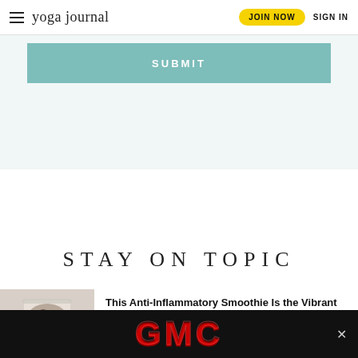yoga journal | JOIN NOW | SIGN IN
[Figure (other): A teal/green SUBMIT button area on a light teal background]
STAY ON TOPIC
[Figure (photo): Photo of a smoothie in a glass with fruit and banana slices]
This Anti-Inflammatory Smoothie Is the Vibrant Breakfast You've Been Craving
[Figure (logo): GMC advertisement banner with GMC logo in red on black background]